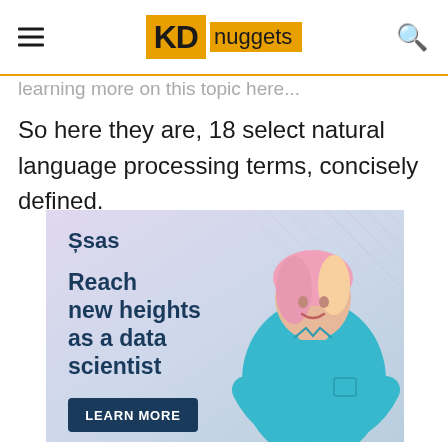KD nuggets
learning more on this topic here...
So here they are, 18 select natural language processing terms, concisely defined.
[Figure (illustration): SAS advertisement banner featuring a woman with pink hair wearing a teal shirt, with text 'Reach new heights as a data scientist' and a 'LEARN MORE' button on a purple/lavender gradient background with decorative lines.]